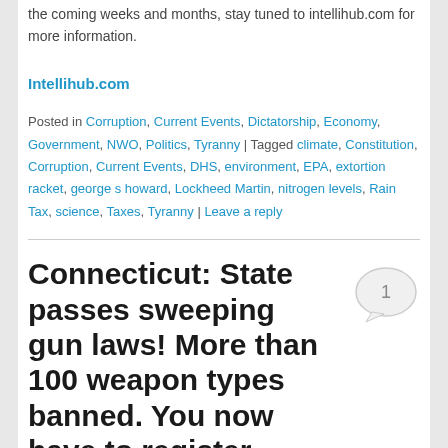the coming weeks and months, stay tuned to intellihub.com for more information.
Intellihub.com
Posted in Corruption, Current Events, Dictatorship, Economy, Government, NWO, Politics, Tyranny | Tagged climate, Constitution, Corruption, Current Events, DHS, environment, EPA, extortion racket, george s howard, Lockheed Martin, nitrogen levels, Rain Tax, science, Taxes, Tyranny | Leave a reply
Connecticut: State passes sweeping gun laws! More than 100 weapon types banned. You now have to register